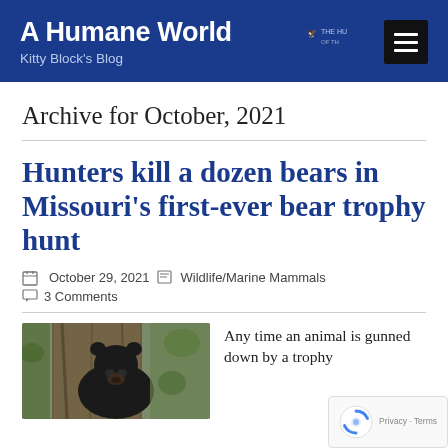A Humane World
Kitty Block's Blog
Archive for October, 2021
Hunters kill a dozen bears in Missouri’s first-ever bear trophy hunt
October 29, 2021  Wildlife/Marine Mammals  3 Comments
[Figure (photo): Black bear close-up photo against a tree]
Any time an animal is gunned down by a trophy